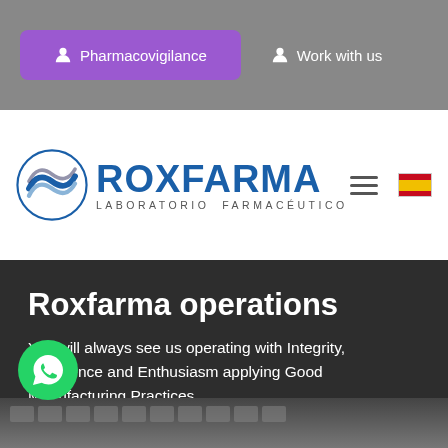[Figure (screenshot): Navigation bar with purple Pharmacovigilance button and Work with us link on gray background]
[Figure (logo): Roxfarma Laboratorio Farmaceutico logo with blue circular wave emblem]
Roxfarma operations
You will always see us operating with Integrity, Excellence and Enthusiasm applying Good Manufacturing Practices.